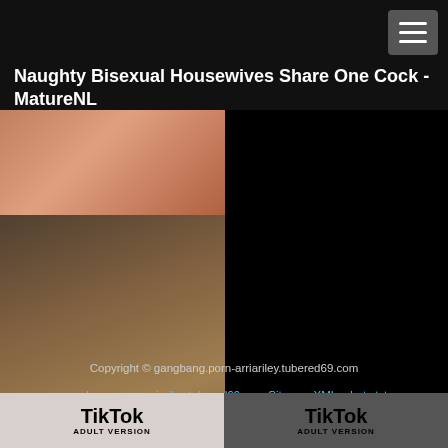Naughty Bisexual Housewives Share One Cock - MatureNL
[Figure (photo): Thumbnail image top - adult content photo]
[Figure (photo): Thumbnail image bottom - adult content photo]
Copyright © gangbang.porn-arriariley.tubered69.com
gangbang.porn-arriariley.tubered69.com Sitemap XML robots.txt Contact/Report form
[Figure (screenshot): TikTok Adult Version banner - left section]
[Figure (screenshot): TikTok Adult Version banner - right section]